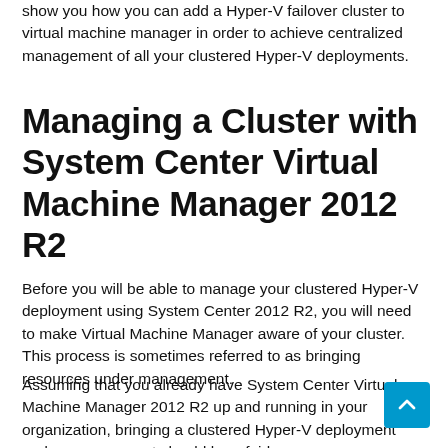show you how you can add a Hyper-V failover cluster to virtual machine manager in order to achieve centralized management of all your clustered Hyper-V deployments.
Managing a Cluster with System Center Virtual Machine Manager 2012 R2
Before you will be able to manage your clustered Hyper-V deployment using System Center 2012 R2, you will need to make Virtual Machine Manager aware of your cluster. This process is sometimes referred to as bringing resources under management.
Assuming that you already have System Center Virtual Machine Manager 2012 R2 up and running in your organization, bringing a clustered Hyper-V deployment under management should be a fairly easy process. Before I show you how to do so, I want to point out that the